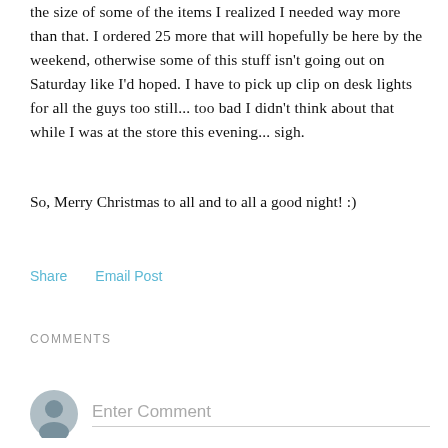the size of some of the items I realized I needed way more than that. I ordered 25 more that will hopefully be here by the weekend, otherwise some of this stuff isn't going out on Saturday like I'd hoped. I have to pick up clip on desk lights for all the guys too still... too bad I didn't think about that while I was at the store this evening... sigh.
So, Merry Christmas to all and to all a good night! :)
Share   Email Post
COMMENTS
Enter Comment